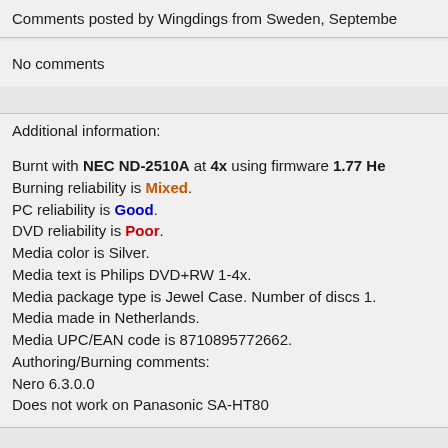Comments posted by Wingdings from Sweden, September
No comments
Additional information:
Burnt with NEC ND-2510A at 4x using firmware 1.77 Hen. Burning reliability is Mixed. PC reliability is Good. DVD reliability is Poor. Media color is Silver. Media text is Philips DVD+RW 1-4x. Media package type is Jewel Case. Number of discs 1. Media made in Netherlands. Media UPC/EAN code is 8710895772662. Authoring/Burning comments: Nero 6.3.0.0 Does not work on Panasonic SA-HT80